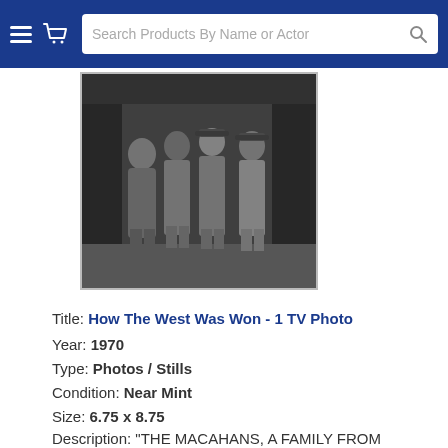Search Products By Name or Actor
[Figure (photo): Black and white vintage TV still photo showing four people (The Macahans cast) standing together outdoors in Western period clothing in front of a wooden structure]
Title: How The West Was Won - 1 TV Photo
Year: 1970
Type: Photos / Stills
Condition: Near Mint
Size: 6.75 x 8.75
Description: "THE MACAHANS, A FAMILY FROM VIRGINIA, HEADED BY ZEB MACAHAN, TRAVEL ACROSS THE COUNTRY TO PIONEER A NEW LAND